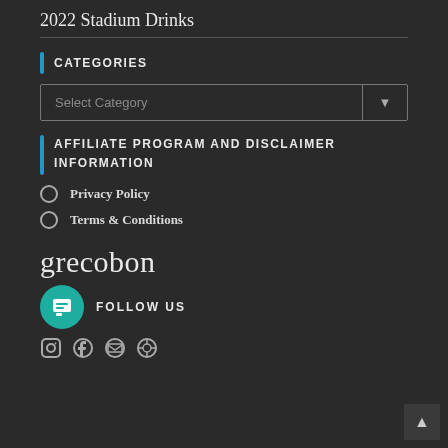2022 Stadium Drinks
CATEGORIES
Select Category
AFFILIATE PROGRAM AND DISCLAIMER INFORMATION
Privacy Policy
Terms & Conditions
grecobon
FOLLOW US